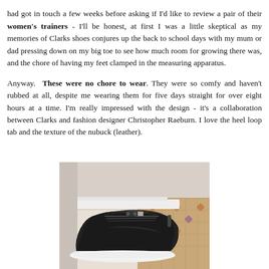had got in touch a few weeks before asking if I'd like to review a pair of their women's trainers - I'll be honest, at first I was a little skeptical as my memories of Clarks shoes conjures up the back to school days with my mum or dad pressing down on my big toe to see how much room for growing there was, and the chore of having my feet clamped in the measuring apparatus.

Anyway. These were no chore to wear. They were so comfy and haven't rubbed at all, despite me wearing them for five days straight for over eight hours at a time. I'm really impressed with the design - it's a collaboration between Clarks and fashion designer Christopher Raeburn. I love the heel loop tab and the texture of the nubuck (leather).
[Figure (photo): A black Clarks x Christopher Raeburn women's trainer sneaker photographed on a white railing/ledge, with a patterned tile floor visible in the background.]